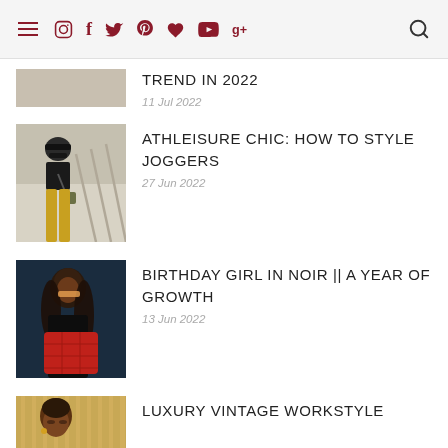Navigation bar with hamburger menu, social icons (Instagram, Facebook, Twitter, Pinterest, heart, YouTube, Google+), and search icon
TREND IN 2022 — 11 Jul 2022
[Figure (photo): Woman wearing black cap, black top, yellow joggers, holding small olive bag, standing near railing]
ATHLEISURE CHIC: HOW TO STYLE JOGGERS — 27 Jun 2022
[Figure (photo): Woman in black outfit holding red quilted bag against dark blue background]
BIRTHDAY GIRL IN NOIR || A YEAR OF GROWTH — 13 Jun 2022
[Figure (photo): Woman with short hair against gold/bronze background]
LUXURY VINTAGE WORKSTYLE